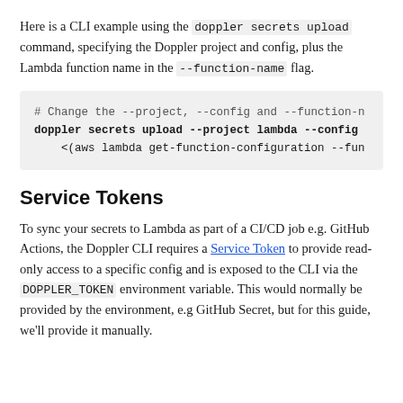Here is a CLI example using the doppler secrets upload command, specifying the Doppler project and config, plus the Lambda function name in the --function-name flag.
# Change the --project, --config and --function-n
doppler secrets upload --project lambda --config
    <(aws lambda get-function-configuration --fun
Service Tokens
To sync your secrets to Lambda as part of a CI/CD job e.g. GitHub Actions, the Doppler CLI requires a Service Token to provide read-only access to a specific config and is exposed to the CLI via the DOPPLER_TOKEN environment variable. This would normally be provided by the environment, e.g GitHub Secret, but for this guide, we'll provide it manually.